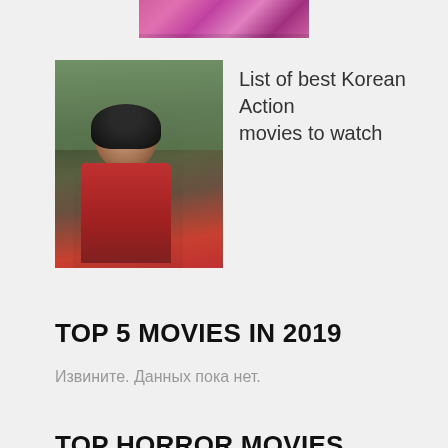[Figure (photo): Partial view of a colorful image at the top of the page, appears to be cropped costume/dance image in pinks and purples]
[Figure (photo): Thumbnail photo of an elderly Korean woman with dark curly hair wearing a red garment, outdoors with green foliage background]
List of best Korean Action movies to watch
TOP 5 MOVIES IN 2019
Извините. Данных пока нет.
TOP HORROR MOVIES
Извините. Данных пока нет.
FEATURED FILMS